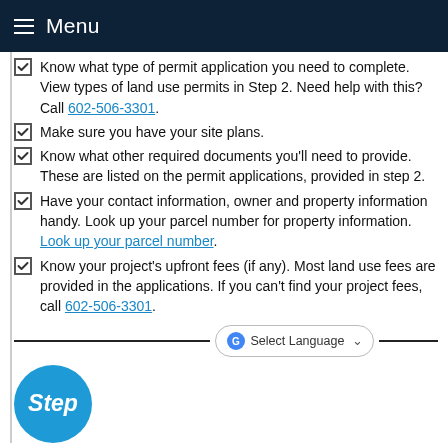Menu
Know what type of permit application you need to complete. View types of land use permits in Step 2. Need help with this? Call 602-506-3301.
Make sure you have your site plans.
Know what other required documents you'll need to provide. These are listed on the permit applications, provided in step 2.
Have your contact information, owner and property information handy. Look up your parcel number for property information. Look up your parcel number.
Know your project's upfront fees (if any). Most land use fees are provided in the applications. If you can't find your project fees, call 602-506-3301.
[Figure (other): Language selector widget with Google Translate icon, 'Select Language' label and dropdown chevron, flanked by horizontal divider lines]
[Figure (other): Blue circular Step badge with italic white text 'Step']